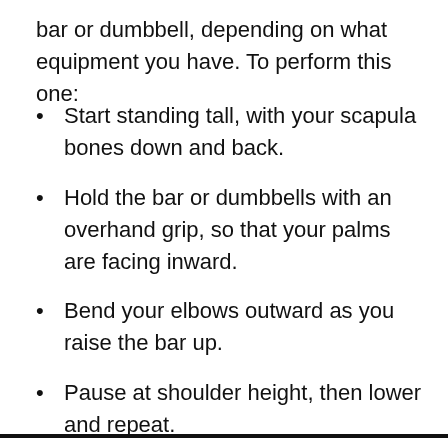bar or dumbbell, depending on what equipment you have. To perform this one:
Start standing tall, with your scapula bones down and back.
Hold the bar or dumbbells with an overhand grip, so that your palms are facing inward.
Bend your elbows outward as you raise the bar up.
Pause at shoulder height, then lower and repeat.